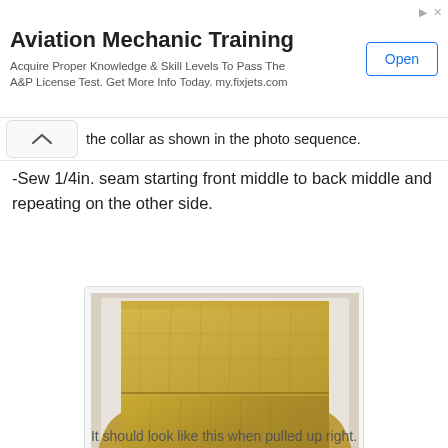[Figure (other): Aviation Mechanic Training advertisement banner with Open button]
the collar as shown in the photo sequence.
-Sew 1/4in. seam starting front middle to back middle and repeating on the other side.
[Figure (photo): Gold/metallic fabric garment collar attachment, showing the collar sewn to the garment body, viewed from above on a light background.]
It should look like this when pulled up right.